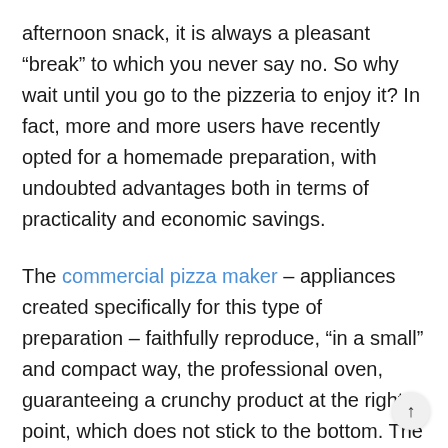afternoon snack, it is always a pleasant “break” to which you never say no. So why wait until you go to the pizzeria to enjoy it? In fact, more and more users have recently opted for a homemade preparation, with undoubted advantages both in terms of practicality and economic savings.
The commercial pizza maker – appliances created specifically for this type of preparation – faithfully reproduce, “in a small” and compact way, the professional oven, guaranteeing a crunchy product at the right point, which does not stick to the bottom. The small cooking chamber, characterizing these appliances, allows to reach high temperatures –